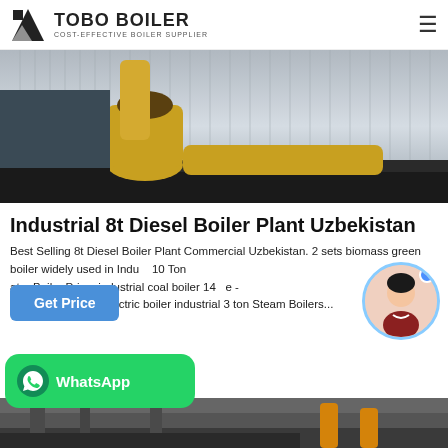TOBO BOILER — COST-EFFECTIVE BOILER SUPPLIER
[Figure (photo): Industrial boiler plant installation with yellow pipes and corrugated metal panels]
Industrial 8t Diesel Boiler Plant Uzbekistan
Best Selling 8t Diesel Boiler Plant Commercial Uzbekistan. 2 sets biomass green boiler widely used in Industrial 10 Ton Water Boiler Price. industrial coal boiler 14 ... e - linde-melchingen. electric boiler industrial 3 ton Steam Boilers...
[Figure (screenshot): Get Price button (blue) and chat avatar of customer service representative]
[Figure (screenshot): WhatsApp contact button (green)]
[Figure (photo): Bottom portion of industrial boiler plant with pipes]